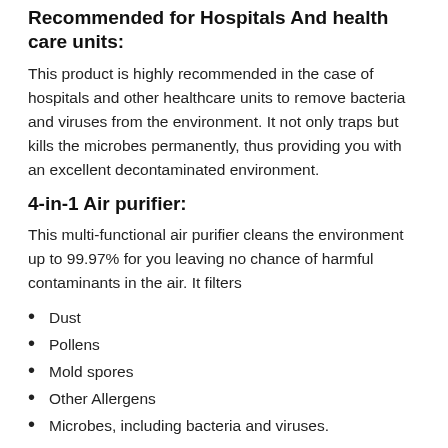Recommended for Hospitals And health care units:
This product is highly recommended in the case of hospitals and other healthcare units to remove bacteria and viruses from the environment. It not only traps but kills the microbes permanently, thus providing you with an excellent decontaminated environment.
4-in-1 Air purifier:
This multi-functional air purifier cleans the environment up to 99.97% for you leaving no chance of harmful contaminants in the air. It filters
Dust
Pollens
Mold spores
Other Allergens
Microbes, including bacteria and viruses.
It also has an activated carbon filter to remove smoke